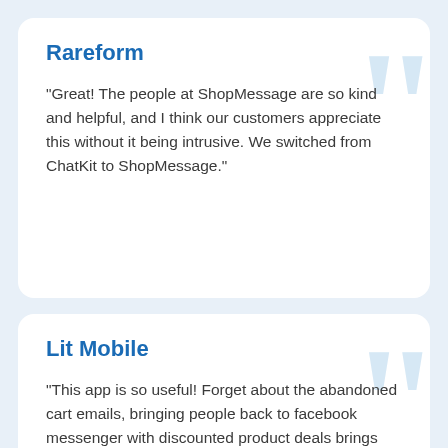Rareform
“Great! The people at ShopMessage are so kind and helpful, and I think our customers appreciate this without it being intrusive. We switched from ChatKit to ShopMessage.”
Lit Mobile
“This app is so useful! Forget about the abandoned cart emails, bringing people back to facebook messenger with discounted product deals brings higher engagement & conversion! This is the